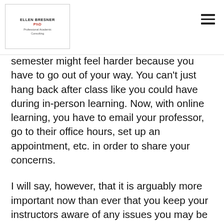ELLEN BRESNER PhD
semester might feel harder because you have to go out of your way. You can't just hang back after class like you could have during in-person learning. Now, with online learning, you have to email your professor, go to their office hours, set up an appointment, etc. in order to share your concerns.
I will say, however, that it is arguably more important now than ever that you keep your instructors aware of any issues you may be experiencing. Though we will check in, professors may have a harder time perceiving issues our students are facing due to our inability to see you in person and detect body language. You have to be your own advocate this fall, a skill you will need constantly in both your personal and professional life.